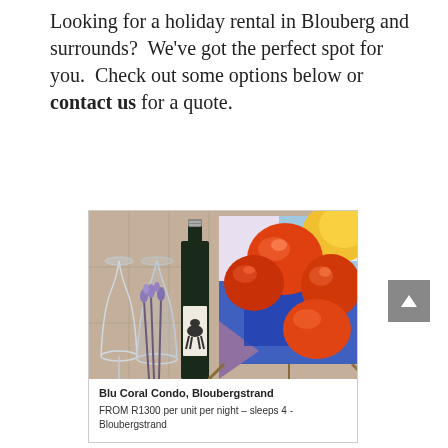Looking for a holiday rental in Blouberg and surrounds?  We've got the perfect spot for you.  Check out some options below or contact us for a quote.
[Figure (photo): Photo of a wine bottle, wine glasses and lavender on the left, and a colorful still-life painting of red/orange apples on an easel on the right, inside a bordered card for Blu Coral Condo, Bloubergstrand]
Blu Coral Condo, Bloubergstrand
FROM R1300 per unit per night – sleeps 4 - Bloubergstrand